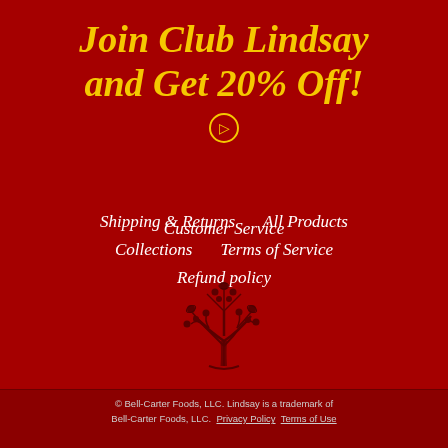Join Club Lindsay and Get 20% Off!
Customer Service
Shipping & Returns    All Products
Collections    Terms of Service
Refund policy
[Figure (logo): Tree logo illustration in dark red/maroon on red background]
© Bell-Carter Foods, LLC. Lindsay is a trademark of Bell-Carter Foods, LLC.  Privacy Policy  Terms of Use